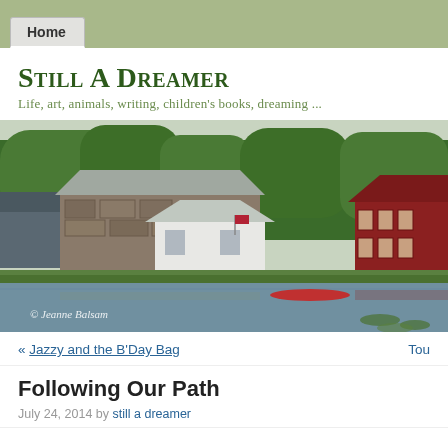Home
Still A Dreamer
Life, art, animals, writing, children's books, dreaming ...
[Figure (photo): A scenic photo of a stone house and red barn by a pond with trees, with a red canoe on the water. Watermark reads '© Jeanne Balsam']
« Jazzy and the B'Day Bag    Tou
Following Our Path
July 24, 2014 by still a dreamer